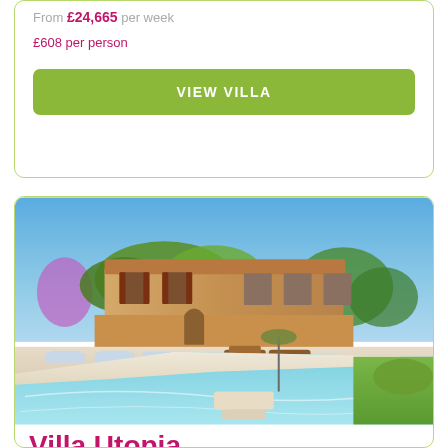From £24,665 per week
£608 per person
VIEW VILLA
[Figure (photo): Exterior photo of a luxury stone villa with a large swimming pool in the foreground, sun loungers, lush greenery, and blue sky]
Villa Utopia